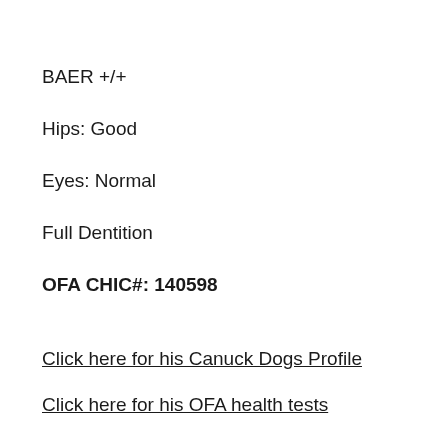BAER +/+
Hips: Good
Eyes: Normal
Full Dentition
OFA CHIC#: 140598
Click here for his Canuck Dogs Profile
Click here for his OFA health tests